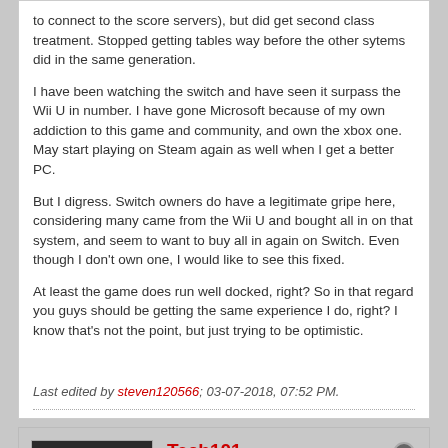to connect to the score servers), but did get second class treatment. Stopped getting tables way before the other sytems did in the same generation.
I have been watching the switch and have seen it surpass the Wii U in number. I have gone Microsoft because of my own addiction to this game and community, and own the xbox one. May start playing on Steam again as well when I get a better PC.
But I digress. Switch owners do have a legitimate gripe here, considering many came from the Wii U and bought all in on that system, and seem to want to buy all in again on Switch. Even though I don't own one, I would like to see this fixed.
At least the game does run well docked, right? So in that regard you guys should be getting the same experience I do, right? I know that's not the point, but just trying to be optimistic.
Last edited by steven120566; 03-07-2018, 07:52 PM.
Tech101
Senior Member
Join Date: Jan 2012  Posts: 921
03-07-2018, 08:14 PM
#12